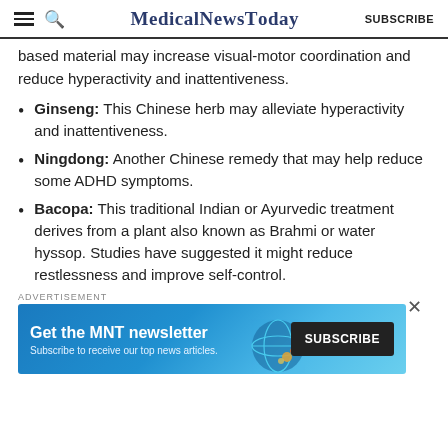MedicalNewsToday SUBSCRIBE
based material may increase visual-motor coordination and reduce hyperactivity and inattentiveness.
Ginseng: This Chinese herb may alleviate hyperactivity and inattentiveness.
Ningdong: Another Chinese remedy that may help reduce some ADHD symptoms.
Bacopa: This traditional Indian or Ayurvedic treatment derives from a plant also known as Brahmi or water hyssop. Studies have suggested it might reduce restlessness and improve self-control.
ADVERTISEMENT
[Figure (infographic): MNT newsletter subscription advertisement banner with text 'Get the MNT newsletter', 'Subscribe to receive our top news articles.' and a SUBSCRIBE button.]